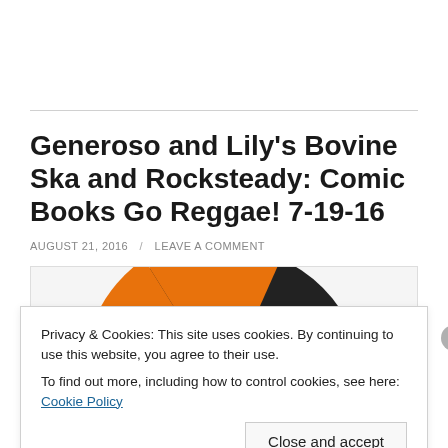Generoso and Lily's Bovine Ska and Rocksteady: Comic Books Go Reggae! 7-19-16
AUGUST 21, 2016 / LEAVE A COMMENT
[Figure (illustration): Partial view of a vinyl record with orange and black coloring, shown from above inside a white bordered box]
Privacy & Cookies: This site uses cookies. By continuing to use this website, you agree to their use. To find out more, including how to control cookies, see here: Cookie Policy
Close and accept